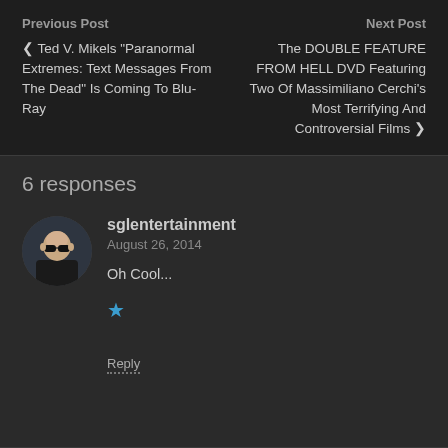Previous Post
< Ted V. Mikels "Paranormal Extremes: Text Messages From The Dead" Is Coming To Blu-Ray
Next Post
The DOUBLE FEATURE FROM HELL DVD Featuring Two Of Massimiliano Cerchi's Most Terrifying And Controversial Films >
6 responses
sglentertainment
August 26, 2014
Oh Cool...
★
Reply